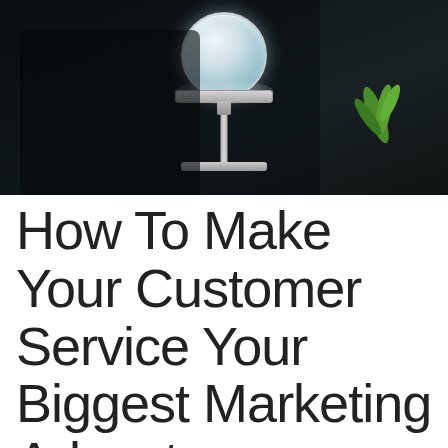[Figure (photo): Photo of a person in dark clothing holding or standing near a laboratory stand with a crystal/glass ball on top, with a green plant visible on the right side, dark background.]
How To Make Your Customer Service Your Biggest Marketing Advantage